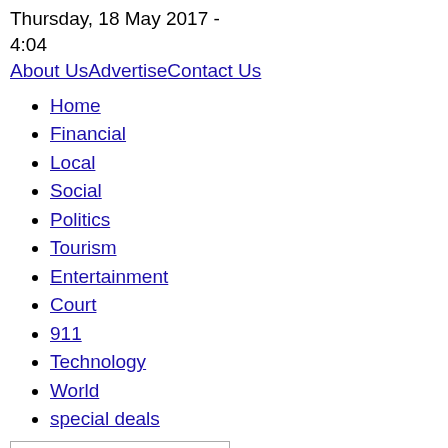Thursday, 18 May 2017 - 4:04
About Us | Advertise | Contact Us
Home
Financial
Local
Social
Politics
Tourism
Entertainment
Court
911
Technology
World
special deals
Search...
Login
Close
Username